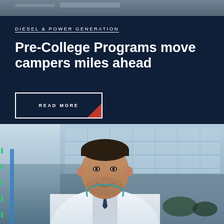[Figure (photo): Top portion of image, partially visible at the top of the page]
DIESEL & POWER GENERATION
Pre-College Programs move campers miles ahead
READ MORE
[Figure (photo): Photo of a young male doctor in a white coat with a stethoscope, smiling, standing in front of a modern glass building]